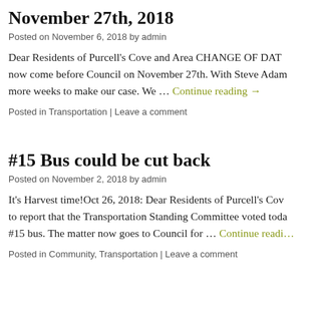November 27th, 2018
Posted on November 6, 2018 by admin
Dear Residents of Purcell's Cove and Area CHANGE OF DATE… now come before Council on November 27th. With Steve Adam… more weeks to make our case. We … Continue reading →
Posted in Transportation | Leave a comment
#15 Bus could be cut back
Posted on November 2, 2018 by admin
It's Harvest time!Oct 26, 2018: Dear Residents of Purcell's Cov… to report that the Transportation Standing Committee voted toda… #15 bus. The matter now goes to Council for … Continue reading…
Posted in Community, Transportation | Leave a comment